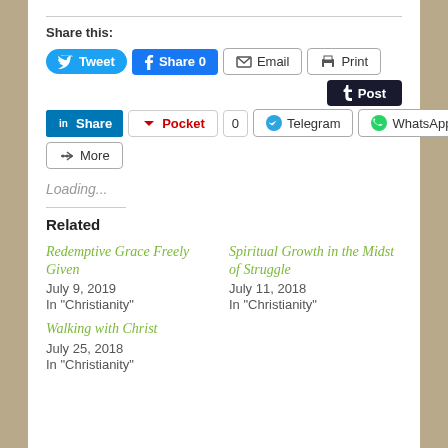Share this:
[Figure (screenshot): Social share buttons: Tweet, Facebook Share 0, Email, Print, Tumblr Post, LinkedIn Share, Pocket 0, Telegram, WhatsApp, Skype Share, More]
Loading...
Related
Redemptive Grace Freely Given
July 9, 2019
In "Christianity"
Spiritual Growth in the Midst of Struggle
July 11, 2018
In "Christianity"
Walking with Christ
July 25, 2018
In "Christianity"